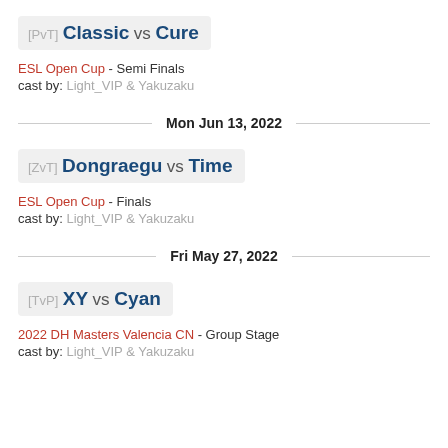[PvT] Classic vs Cure
ESL Open Cup - Semi Finals
cast by: Light_VIP & Yakuzaku
Mon Jun 13, 2022
[ZvT] Dongraegu vs Time
ESL Open Cup - Finals
cast by: Light_VIP & Yakuzaku
Fri May 27, 2022
[TvP] XY vs Cyan
2022 DH Masters Valencia CN - Group Stage
cast by: Light_VIP & Yakuzaku